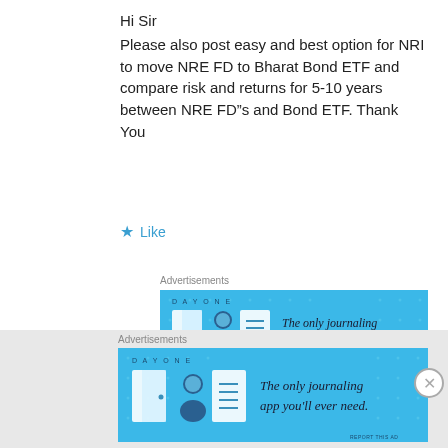Hi Sir
Please also post easy and best option for NRI to move NRE FD to Bharat Bond ETF and compare risk and returns for 5-10 years between NRE FD”s and Bond ETF. Thank You
★ Like
[Figure (screenshot): Day One journaling app advertisement banner with blue background showing app icons and text 'The only journaling app you'll ever need.']
Nitin
DECEMBER 24, 2021 AT 1:49 PM
Hello Guys
[Figure (screenshot): Day One journaling app advertisement banner with blue background showing app icons and text 'The only journaling app you'll ever need.']